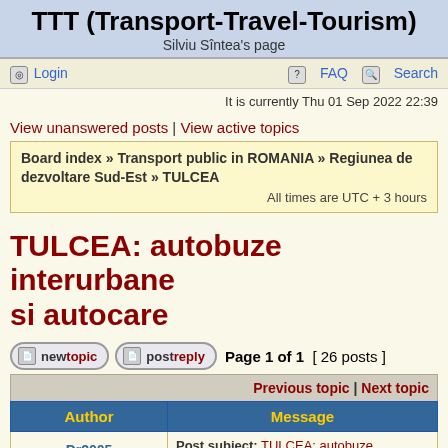TTT (Transport-Travel-Tourism)
Silviu Sîntea's page
Login | FAQ | Search
It is currently Thu 01 Sep 2022 22:39
View unanswered posts | View active topics
Board index » Transport public in ROMANIA » Regiunea de dezvoltare Sud-Est » TULCEA
All times are UTC + 3 hours
TULCEA: autobuze interurbane si autocare
Page 1 of 1 [ 26 posts ]
| Author | Message |
| --- | --- |
| Dr2005 | Post subject: TULCEA: autobuze interurbane si autocare
Posted: Tue 23 Oct 2007 22:50 |